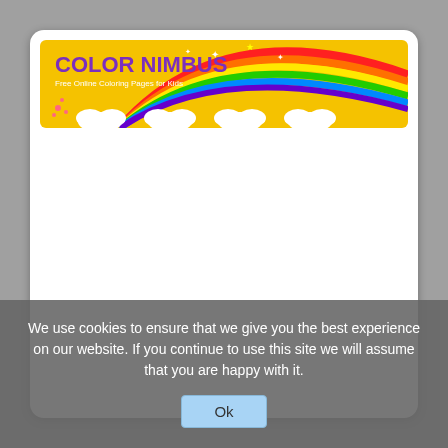[Figure (logo): Color Nimbus website banner — yellow background with a large rainbow arc, clouds at the bottom, cartoon children and flowers on the right, and the text 'COLOR NIMBUS' in purple bold letters with tagline 'Free Online Coloring Pages for Kids' in white on the left.]
We use cookies to ensure that we give you the best experience on our website. If you continue to use this site we will assume that you are happy with it.